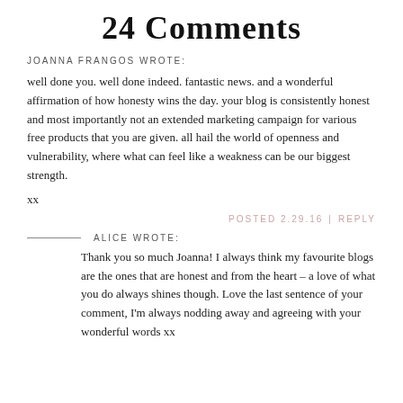24 Comments
JOANNA FRANGOS WROTE:
well done you. well done indeed. fantastic news. and a wonderful affirmation of how honesty wins the day. your blog is consistently honest and most importantly not an extended marketing campaign for various free products that you are given. all hail the world of openness and vulnerability, where what can feel like a weakness can be our biggest strength.
xx
POSTED 2.29.16  |  REPLY
ALICE WROTE:
Thank you so much Joanna! I always think my favourite blogs are the ones that are honest and from the heart – a love of what you do always shines though. Love the last sentence of your comment, I'm always nodding away and agreeing with your wonderful words xx